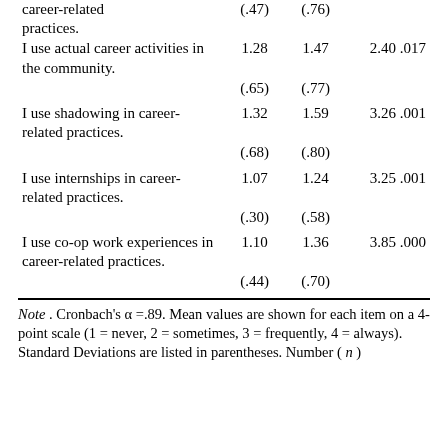| Item | M (pre) | M (post) | Stat p |
| --- | --- | --- | --- |
| career-related practices. | (.47) | (.76) |  |
| I use actual career activities in the community. | 1.28 | 1.47 | 2.40 .017 |
|  | (.65) | (.77) |  |
| I use shadowing in career-related practices. | 1.32 | 1.59 | 3.26 .001 |
|  | (.68) | (.80) |  |
| I use internships in career-related practices. | 1.07 | 1.24 | 3.25 .001 |
|  | (.30) | (.58) |  |
| I use co-op work experiences in career-related practices. | 1.10 | 1.36 | 3.85 .000 |
|  | (.44) | (.70) |  |
Note . Cronbach's α =.89. Mean values are shown for each item on a 4-point scale (1 = never, 2 = sometimes, 3 = frequently, 4 = always). Standard Deviations are listed in parentheses. Number ( n )